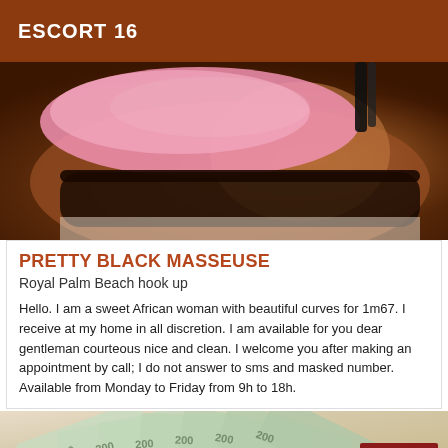ESCORT 16
[Figure (photo): Close-up photo of a person wearing pink and black clothing]
PRETTY BLACK MASSEUSE
Royal Palm Beach hook up
Hello. I am a sweet African woman with beautiful curves for 1m67. I receive at my home in all discretion. I am available for you dear gentleman courteous nice and clean. I welcome you after making an appointment by call; I do not answer to sms and masked number. Available from Monday to Friday from 9h to 18h.
[Figure (photo): Photo of Euro banknotes fanned out, with an Online badge in the bottom right corner]